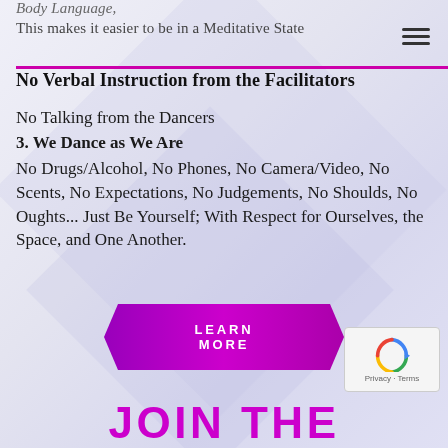Body Language,
This makes it easier to be in a Meditative State
No Verbal Instruction from the Facilitators
No Talking from the Dancers
3. We Dance as We Are
No Drugs/Alcohol, No Phones, No Camera/Video, No Scents, No Expectations, No Judgements, No Shoulds, No Oughts... Just Be Yourself; With Respect for Ourselves, the Space, and One Another.
[Figure (other): Purple 'LEARN MORE' button with hexagonal/arrow shape]
JOIN THE